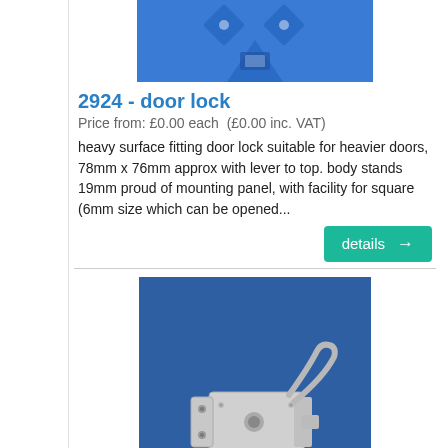[Figure (photo): Partial view of a blue door lock product image cropped at top]
2924 - door lock
Price from: £0.00 each  (£0.00 inc. VAT)
heavy surface fitting door lock suitable for heavier doors, 78mm x 76mm approx with lever to top. body stands 19mm proud of mounting panel, with facility for square (6mm size which can be opened...
[Figure (other): Teal 'details' button with arrow]
[Figure (photo): Photo of a silver/nickel door lock on a blue background]
2924L-nic - door lock - left hand - nickel
Price from: £82.62 each  (£99.14 inc. VAT)
heavy surface fitting door lock suitable for heavier doors,